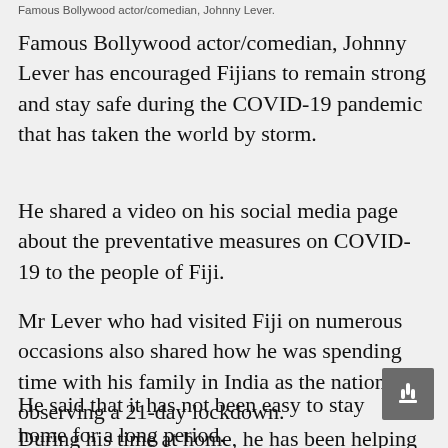Famous Bollywood actor/comedian, Johnny Lever.
Famous Bollywood actor/comedian, Johnny Lever has encouraged Fijians to remain strong and stay safe during the COVID-19 pandemic that has taken the world by storm.
He shared a video on his social media page about the preventative measures on COVID-19 to the people of Fiji.
Mr Lever who had visited Fiji on numerous occasions also shared how he was spending time with his family in India as the nation is observing a 21-day lockdown.
He said that it has not been easy to stay home for a long period.
During his time at home, he has been helping